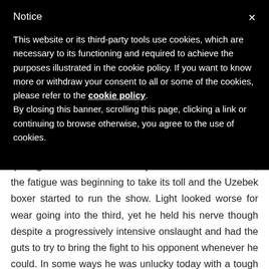Notice
This website or its third-party tools use cookies, which are necessary to its functioning and required to achieve the purposes illustrated in the cookie policy. If you want to know more or withdraw your consent to all or some of the cookies, please refer to the cookie policy.
By closing this banner, scrolling this page, clicking a link or continuing to browse otherwise, you agree to the use of cookies.
quite gassed for the break. By the end of the second, the fatigue was beginning to take its toll and the Uzebek boxer started to run the show. Light looked worse for wear going into the third, yet he held his nerve though despite a progressively intensive onslaught and had the guts to try to bring the fight to his opponent whenever he could. In some ways he was unlucky today with a tough opponent, and at